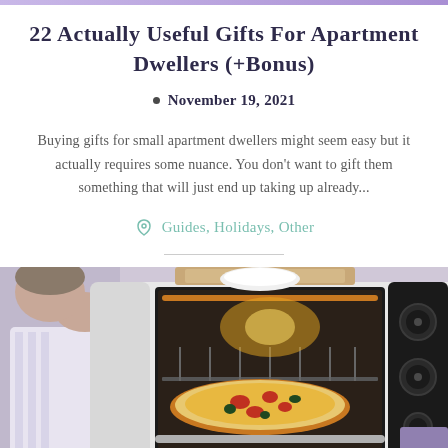22 Actually Useful Gifts For Apartment Dwellers (+Bonus)
November 19, 2021
Buying gifts for small apartment dwellers might seem easy but it actually requires some nuance. You don't want to gift them something that will just end up taking up already...
Guides, Holidays, Other
[Figure (photo): A person placing or removing a pizza from a countertop toaster oven. The oven has a dark interior with glowing heating elements and visible control knobs on the right side. A cutting board is visible on top.]